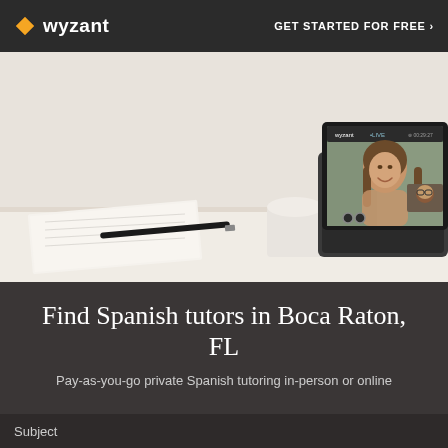wyzant  GET STARTED FOR FREE ›
[Figure (photo): Photo of a laptop on a desk showing a video tutoring session. A woman smiles on the main screen with a smaller video inset. A notebook, pen, and coffee mug are visible on the desk.]
Find Spanish tutors in Boca Raton, FL
Pay-as-you-go private Spanish tutoring in-person or online
Subject